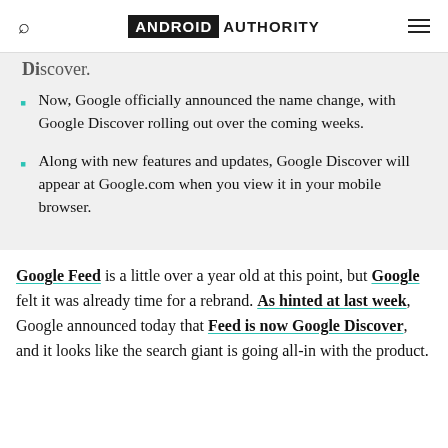Android Authority
Discover.
Now, Google officially announced the name change, with Google Discover rolling out over the coming weeks.
Along with new features and updates, Google Discover will appear at Google.com when you view it in your mobile browser.
Google Feed is a little over a year old at this point, but Google felt it was already time for a rebrand. As hinted at last week, Google announced today that Feed is now Google Discover, and it looks like the search giant is going all-in with the product.